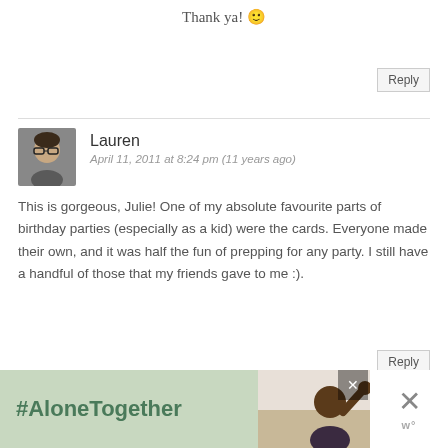Thank ya! 🙂
Reply
Lauren
April 11, 2011 at 8:24 pm (11 years ago)
This is gorgeous, Julie! One of my absolute favourite parts of birthday parties (especially as a kid) were the cards. Everyone made their own, and it was half the fun of prepping for any party. I still have a handful of those that my friends gave to me :).
Reply
Julie @ Willow Bird Baking
April 11, 2011 at 9:23 pm (11 years ago)
[Figure (photo): Couple waving on a video call, part of an advertisement]
#AloneTogether